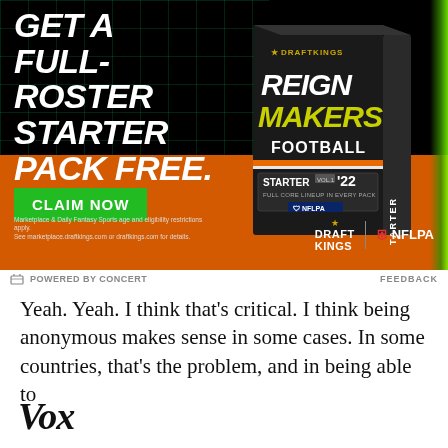[Figure (illustration): DraftKings Reign Makers Football advertisement. Dark background with green grid, orange lower section. Large white bold italic text reads 'GET A FULL-ROSTER STARTER PACK FREE.' with a green 'CLAIM NOW' button. A product box labeled 'DraftKings Reign Makers Football Starter Vol.1 '22' is shown on the right. DraftKings and NFLPA logos at bottom right. Fine print: 'Marketplace & Daily Fantasy Sports age and eligibility restrictions apply. See marketplace.draftkings.com or draftkings.com for details.']
POWERED BY CONCERT   FEEDBACK
Yeah. Yeah. I think that's critical. I think being anonymous makes sense in some cases. In some countries, that's the problem, and in being able to
[Figure (logo): Vox logo in large bold italic serif font]